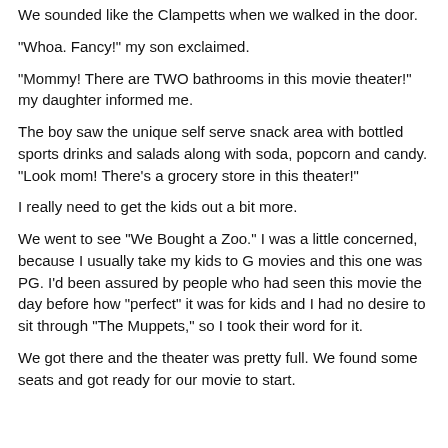We sounded like the Clampetts when we walked in the door.
"Whoa.  Fancy!" my son exclaimed.
"Mommy!  There are TWO bathrooms in this movie theater!" my daughter informed me.
The boy saw the unique self serve snack area with bottled sports drinks and salads along with soda, popcorn and candy.  "Look mom!  There's a grocery store in this theater!"
I really need to get the kids out a bit more.
We went to see "We Bought a Zoo."  I was a little concerned, because I usually take my kids to G movies and this one was PG.  I'd been assured by people who had seen this movie the day before how "perfect" it was for kids and I had no desire to sit through "The Muppets," so I took their word for it.
We got there and the theater was pretty full.  We found some seats and got ready for our movie to start.